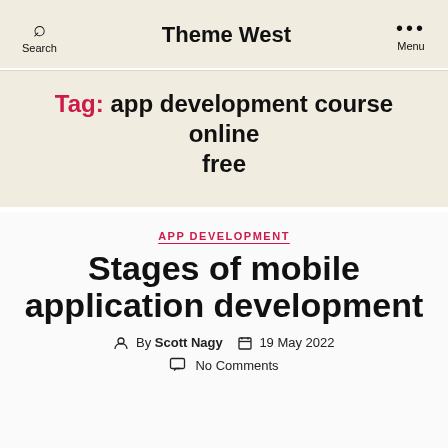Search  Theme West  Menu
Tag: app development course online free
APP DEVELOPMENT
Stages of mobile application development
By Scott Nagy  19 May 2022
No Comments